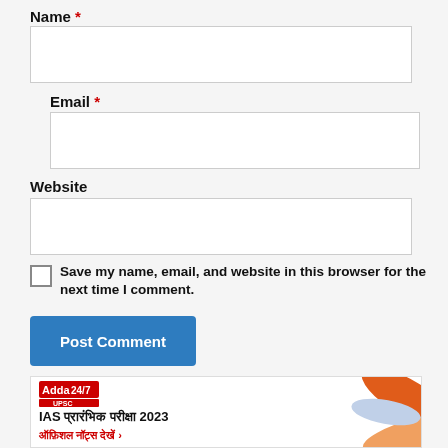Name *
[Figure (screenshot): Empty text input box for Name field]
Email *
[Figure (screenshot): Empty text input box for Email field]
Website
[Figure (screenshot): Empty text input box for Website field]
Save my name, email, and website in this browser for the next time I comment.
Post Comment
[Figure (infographic): Adda247 UPSC banner with IAS प्रारंभिक परीक्षा 2023 and decorative swirl graphics]